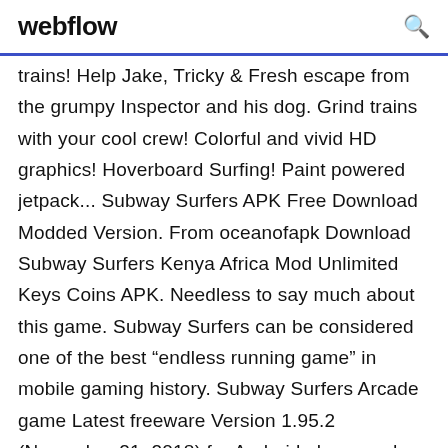webflow
trains! Help Jake, Tricky & Fresh escape from the grumpy Inspector and his dog. Grind trains with your cool crew! Colorful and vivid HD graphics! Hoverboard Surfing! Paint powered jetpack... Subway Surfers APK Free Download Modded Version. From oceanofapk Download Subway Surfers Kenya Africa Mod Unlimited Keys Coins APK. Needless to say much about this game. Subway Surfers can be considered one of the best “endless running game” in mobile gaming history. Subway Surfers Arcade game Latest freeware Version 1.95.2 (November 21, 2018) for Android phone and tablet with online apk downloader on ApkTomb. A chase will always bring a sense of thrill and fun